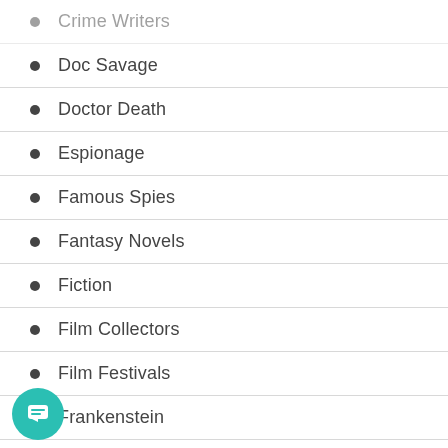Crime Writers
Doc Savage
Doctor Death
Espionage
Famous Spies
Fantasy Novels
Fiction
Film Collectors
Film Festivals
Frankenstein
Golden Amazon
Great 20th Century American Writers